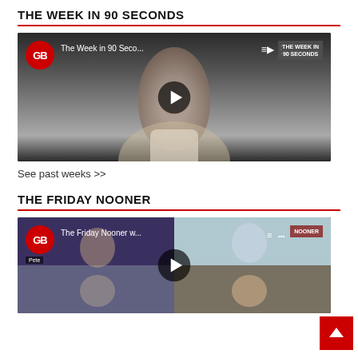THE WEEK IN 90 SECONDS
[Figure (screenshot): YouTube video thumbnail showing GB News 'The Week in 90 Seco...' with a man in a suit jacket, play button overlay, and corner label 'THE WEEK IN 90 SECONDS']
See past weeks >>
THE FRIDAY NOONER
[Figure (screenshot): YouTube video thumbnail showing GB News 'The Friday Nooner w...' with multiple people in a grid layout including Pete, play button overlay, and NOONER corner label]